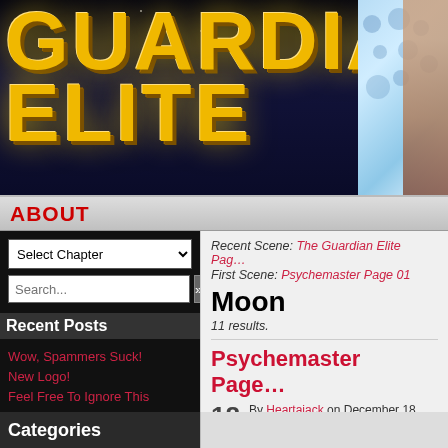[Figure (logo): Guardian Elite comic logo banner with gold 3D text on dark space background, and a figure on the right side with blue bubble background]
ABOUT
Select Chapter (dropdown)
Search...
Recent Posts
Wow, Spammers Suck!
New Logo!
Feel Free To Ignore This Comic…
For Now
We're Live!
Recent Scene: The Guardian Elite Pag…
First Scene: Psychemaster Page 01
Moon
11 results.
Psychemaster Page…
18
By Heartajack on December 18, 2…
Chapter: On the Moon!, Psychema…
Characters: Psychemaster
Location: Moon
Categories